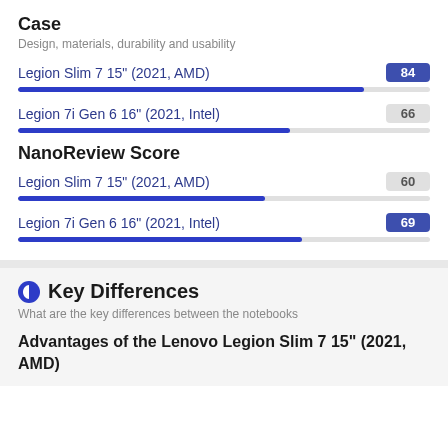Case
Design, materials, durability and usability
[Figure (bar-chart): Case]
NanoReview Score
[Figure (bar-chart): NanoReview Score]
Key Differences
What are the key differences between the notebooks
Advantages of the Lenovo Legion Slim 7 15" (2021, AMD)